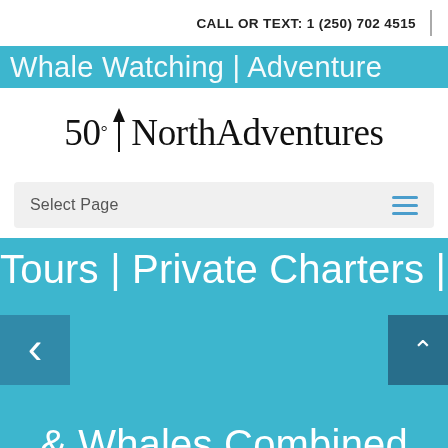CALL OR TEXT:  1 (250) 702 4515
[Figure (logo): 50° North Adventures logo with compass arrow pointing north]
Select Page
Whale Watching | Adventure Tours | Private Charters | Fish
& Whales Combined